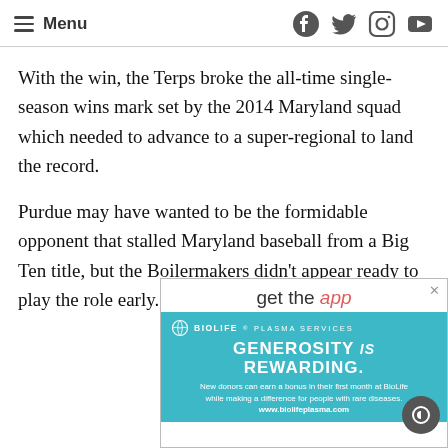Menu (hamburger icon) | Facebook, Twitter, Instagram, YouTube icons
With the win, the Terps broke the all-time single-season wins mark set by the 2014 Maryland squad which needed to advance to a super-regional to land the record.
Purdue may have wanted to be the formidable opponent that stalled Maryland baseball from a Big Ten title, but the Boilermakers didn't appear ready to play the role early.
[Figure (infographic): Advertisement: 'get the app' with BioLife Plasma Services ad below showing 'GENEROSITY IS REWARDING.' with text about new donors earning a bonus and www.biolifeplasma.com]